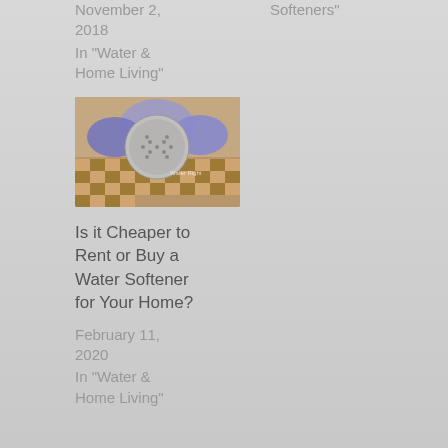November 2, 2018
In "Water & Home Living"
Softeners"
[Figure (photo): Gloved hands holding a circular perforated disc over a checkered tile surface, with a 'Water Right' watermark]
Is it Cheaper to Rent or Buy a Water Softener for Your Home?
February 11, 2020
In "Water & Home Living"